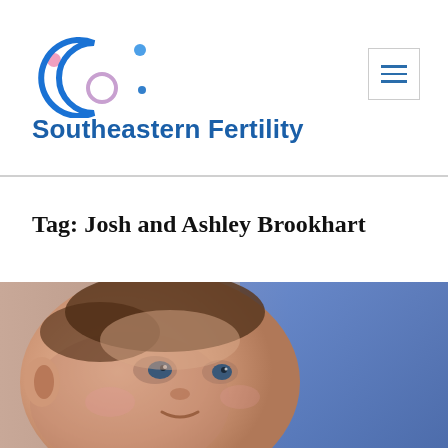[Figure (logo): Southeastern Fertility logo: circular arc shape in blue with pink and blue accent dots]
Southeastern Fertility
Tag: Josh and Ashley Brookhart
[Figure (photo): Close-up photo of a newborn baby looking upward, with blue background]